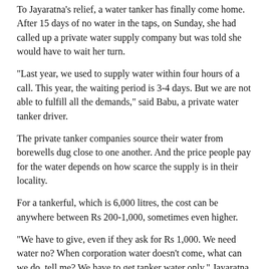To Jayaratna's relief, a water tanker has finally come home. After 15 days of no water in the taps, on Sunday, she had called up a private water supply company but was told she would have to wait her turn.
“Last year, we used to supply water within four hours of a call. This year, the waiting period is 3-4 days. But we are not able to fulfill all the demands,” said Babu, a private water tanker driver.
The private tanker companies source their water from borewells dug close to one another. And the price people pay for the water depends on how scarce the supply is in their locality.
For a tankerful, which is 6,000 litres, the cost can be anywhere between Rs 200-1,000, sometimes even higher.
“We have to give, even if they ask for Rs 1,000. We need water no? When corporation water doesn’t come, what can we do, tell me? We have to get tanker water only,” Jayaratna said.